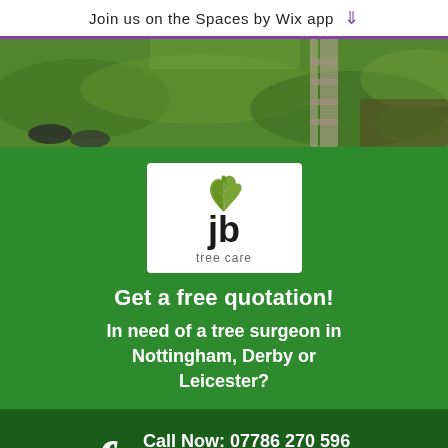Join us on the Spaces by Wix app
[Figure (photo): Aerial view of grass lawn with gardening equipment, boots and a ladder visible]
[Figure (logo): JB Tree Care logo: white box with green oak leaf icon and text 'jb tree care']
Get a free quotation!
In need of a tree surgeon in Nottingham, Derby or Leicester?
Call Now: 07786 270 596
Email:
jbtreecare@outlook.com